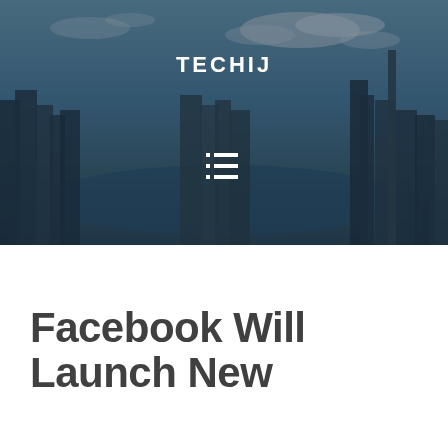[Figure (photo): City skyline aerial view with dramatic cloudy sky, overlay with dark tint serving as website hero banner background]
TECHIJ
Facebook Will Launch New